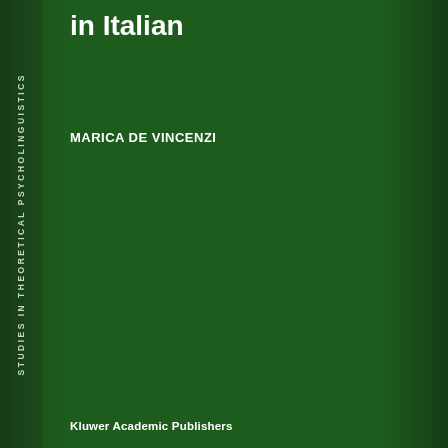[Figure (illustration): Book cover with dark green background. Left spine reads 'STUDIES IN THEORETICAL PSYCHOLINGUISTICS' vertically. Main cover shows partial title text cut off at top, 'in Italian' on second line, author name 'MARICA DE VINCENZI', and publisher 'Kluwer Academic Publishers' at bottom.]
in Italian
MARICA DE VINCENZI
Kluwer Academic Publishers